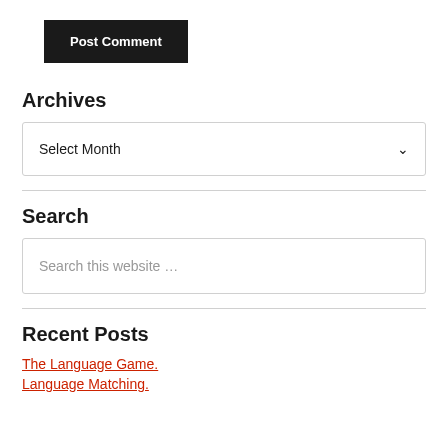[Figure (other): Post Comment button — dark background with white bold text]
Archives
[Figure (other): Select Month dropdown box with chevron arrow]
Search
[Figure (other): Search this website ... input box]
Recent Posts
The Language Game.
Language Matching.